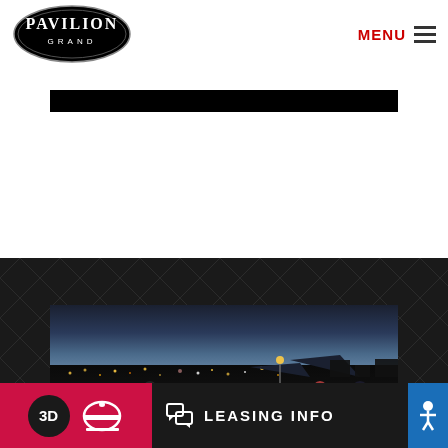PAVILION GRAND
MENU
[Figure (photo): Rooftop party scene at dusk with people socializing, city lights and mountains in background]
3D
LEASING INFO